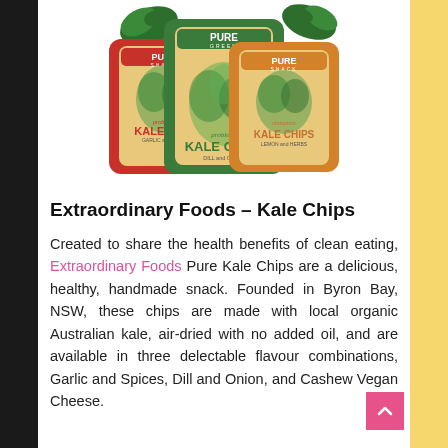[Figure (photo): Three packages of Pure Kale Chips snack bags – one red, one green (center, larger), one orange – arranged overlapping with kale leaves behind them. The center bag reads 'Pure Green Probiotic Kale Chips Dill and Onion'.]
Extraordinary Foods – Kale Chips
Created to share the health benefits of clean eating, Extraordinary Foods Pure Kale Chips are a delicious, healthy, handmade snack. Founded in Byron Bay, NSW, these chips are made with local organic Australian kale, air-dried with no added oil, and are available in three delectable flavour combinations, Garlic and Spices, Dill and Onion, and Cashew Vegan Cheese.